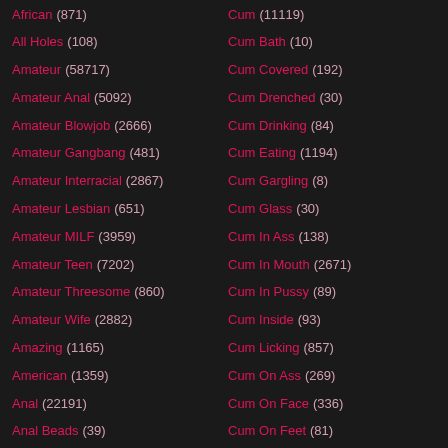African (871)
All Holes (108)
Amateur (58717)
Amateur Anal (5092)
Amateur Blowjob (2666)
Amateur Gangbang (481)
Amateur Interracial (2867)
Amateur Lesbian (651)
Amateur MILF (3959)
Amateur Teen (7202)
Amateur Threesome (860)
Amateur Wife (2882)
Amazing (1165)
American (1359)
Anal (22191)
Anal Beads (39)
Cum (11119)
Cum Bath (10)
Cum Covered (192)
Cum Drenched (30)
Cum Drinking (84)
Cum Eating (1194)
Cum Gargling (8)
Cum Glass (30)
Cum In Ass (138)
Cum In Mouth (2671)
Cum In Pussy (89)
Cum Inside (93)
Cum Licking (857)
Cum On Ass (269)
Cum On Face (336)
Cum On Feet (81)